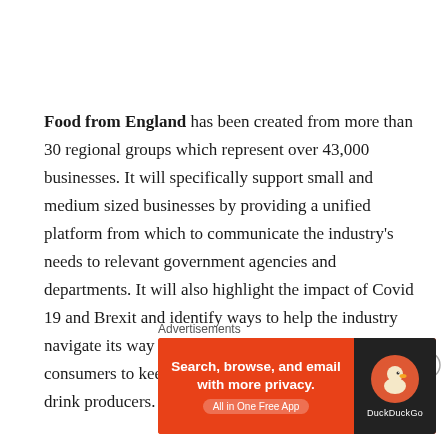Food from England has been created from more than 30 regional groups which represent over 43,000 businesses. It will specifically support small and medium sized businesses by providing a unified platform from which to communicate the industry's needs to relevant government agencies and departments. It will also highlight the impact of Covid 19 and Brexit and identify ways to help the industry navigate its way through both, while encouraging consumers to keep supporting their local food and drink producers.
[Figure (other): Close/dismiss button (circled X icon)]
Advertisements
[Figure (other): DuckDuckGo advertisement banner: 'Search, browse, and email with more privacy. All in One Free App' with DuckDuckGo logo on dark right panel.]